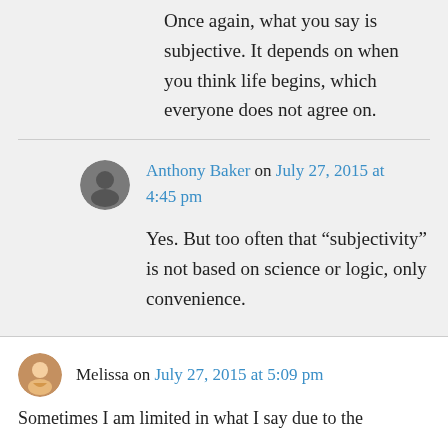Once again, what you say is subjective. It depends on when you think life begins, which everyone does not agree on.
Anthony Baker on July 27, 2015 at 4:45 pm
Yes. But too often that “subjectivity” is not based on science or logic, only convenience.
Melissa on July 27, 2015 at 5:09 pm
Sometimes I am limited in what I say due to the